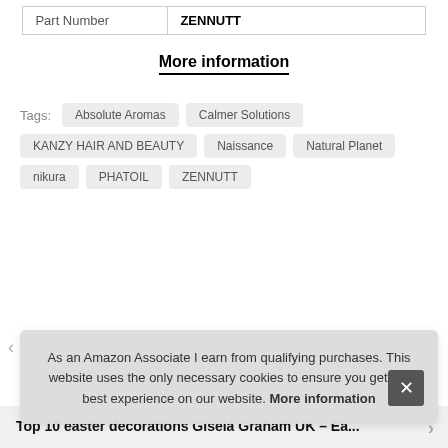| Part Number | ZENNUTT |
| --- | --- |
More information
Tags:  Absolute Aromas  Calmer Solutions  KANZY HAIR AND BEAUTY  Naissance  Natural Planet  nikura  PHATOIL  ZENNUTT
Top 10 easter decorations Gisela Graham UK – Ea...
As an Amazon Associate I earn from qualifying purchases. This website uses the only necessary cookies to ensure you get the best experience on our website. More information